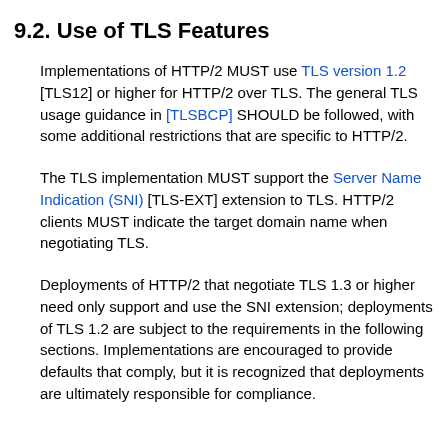9.2. Use of TLS Features
Implementations of HTTP/2 MUST use TLS version 1.2 [TLS12] or higher for HTTP/2 over TLS. The general TLS usage guidance in [TLSBCP] SHOULD be followed, with some additional restrictions that are specific to HTTP/2.
The TLS implementation MUST support the Server Name Indication (SNI) [TLS-EXT] extension to TLS. HTTP/2 clients MUST indicate the target domain name when negotiating TLS.
Deployments of HTTP/2 that negotiate TLS 1.3 or higher need only support and use the SNI extension; deployments of TLS 1.2 are subject to the requirements in the following sections. Implementations are encouraged to provide defaults that comply, but it is recognized that deployments are ultimately responsible for compliance.